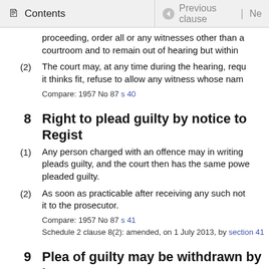Contents | Previous clause | Ne
proceeding, order all or any witnesses other than a courtroom and to remain out of hearing but within
(2) The court may, at any time during the hearing, requ it thinks fit, refuse to allow any witness whose nam
Compare: 1957 No 87 s 40
8 Right to plead guilty by notice to Regist
(1) Any person charged with an offence may in writing pleads guilty, and the court then has the same powe pleaded guilty.
(2) As soon as practicable after receiving any such not it to the prosecutor.
Compare: 1957 No 87 s 41
Schedule 2 clause 8(2): amended, on 1 July 2013, by section 41
9 Plea of guilty may be withdrawn by leav
A plea of guilty may, by leave of the court, be with otherwise dealt with.
Compare: 1957 No 87 s 42